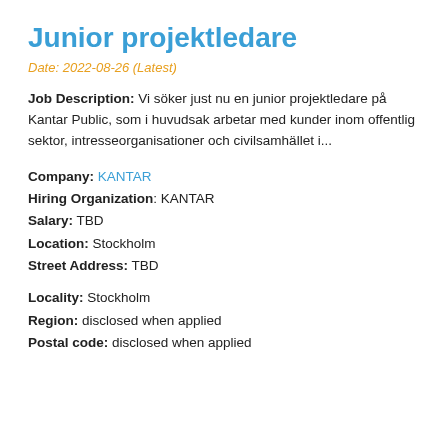Junior projektledare
Date: 2022-08-26 (Latest)
Job Description: Vi söker just nu en junior projektledare på Kantar Public, som i huvudsak arbetar med kunder inom offentlig sektor, intresseorganisationer och civilsamhället i...
Company: KANTAR
Hiring Organization: KANTAR
Salary: TBD
Location: Stockholm
Street Address: TBD
Locality: Stockholm
Region: disclosed when applied
Postal code: disclosed when applied